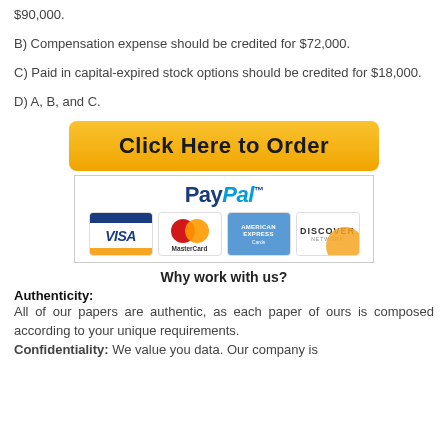$90,000.
B) Compensation expense should be credited for $72,000.
C) Paid in capital-expired stock options should be credited for $18,000.
D) A, B, and C.
[Figure (other): Orange 'Click Here to Order' button]
[Figure (other): PayPal payment logos: Visa, MasterCard, American Express, Discover]
Why work with us?
Authenticity:
All of our papers are authentic, as each paper of ours is composed according to your unique requirements.
Confidentiality: We value you data. Our company is